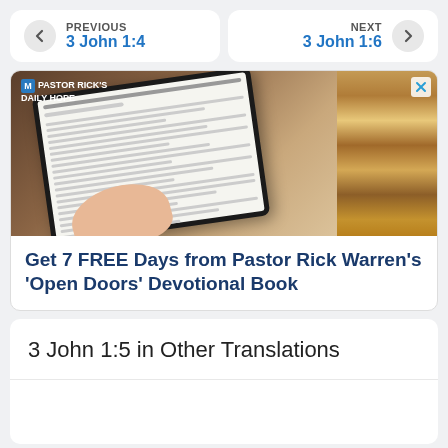PREVIOUS 3 John 1:4
NEXT 3 John 1:6
[Figure (advertisement): Advertisement for Pastor Rick Warren's Open Doors Devotional Book showing a tablet with text, with a close button. Text reads: Get 7 FREE Days from Pastor Rick Warren's 'Open Doors' Devotional Book]
3 John 1:5 in Other Translations